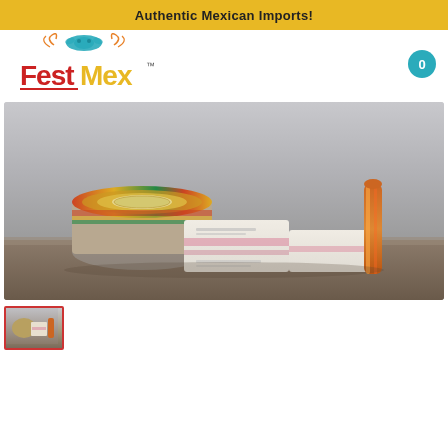Authentic Mexican Imports!
[Figure (logo): FestMex logo — colorful text with decorative icon above, showing 'FestMex' with trademark symbol]
[Figure (photo): Product photo showing Mexican imported goods including a round decorative tin, wrapped packages/boxes, and a candy stick on a wooden surface with a neutral grey background]
[Figure (photo): Small thumbnail of same product photo]